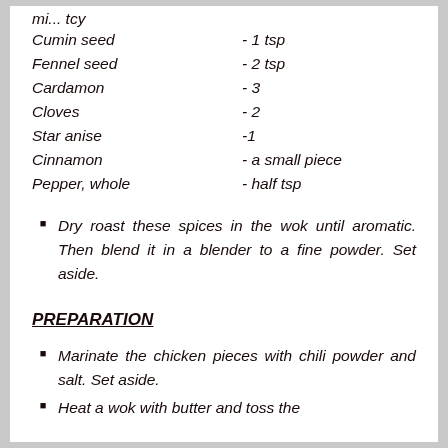Cumin seed - 1 tsp
Fennel seed - 2 tsp
Cardamon - 3
Cloves - 2
Star anise -1
Cinnamon - a small piece
Pepper, whole - half tsp
Dry roast these spices in the wok until aromatic. Then blend it in a blender to a fine powder. Set aside.
PREPARATION
Marinate the chicken pieces with chili powder and salt. Set aside.
Heat a wok with butter and toss the